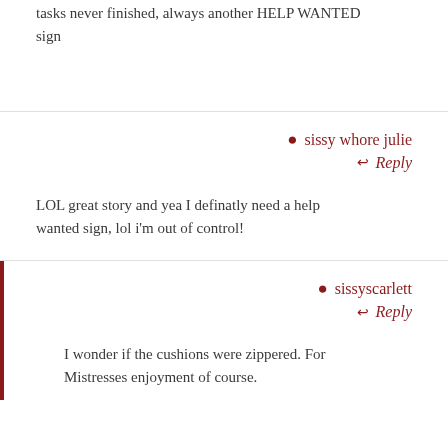tasks never finished, always another HELP WANTED sign
sissy whore julie
Reply
LOL great story and yea I definatly need a help wanted sign, lol i'm out of control!
sissyscarlett
Reply
I wonder if the cushions were zippered. For Mistresses enjoyment of course.